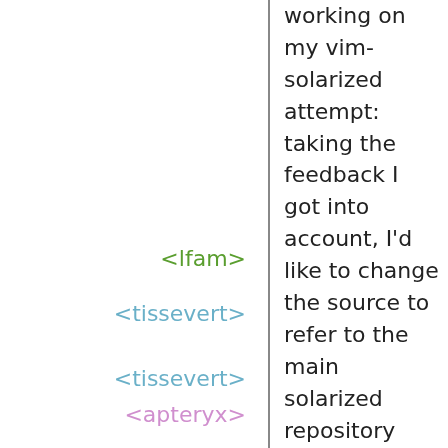working on my vim-solarized attempt: taking the feedback I got into account, I'd like to change the source to refer to the main solarized repository and not the «vim-only» clone
<lfam> Okay
<tissevert> guix download works for both repositories
<tissevert> gives me a hash at the end
<apteryx> civodul: using Btrfs zstd compression,